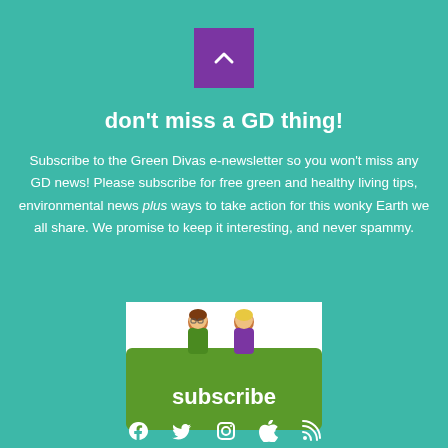[Figure (other): Purple square button with a white upward chevron arrow icon]
don't miss a GD thing!
Subscribe to the Green Divas e-newsletter so you won't miss any GD news! Please subscribe for free green and healthy living tips, environmental news plus ways to take action for this wonky Earth we all share. We promise to keep it interesting, and never spammy.
[Figure (illustration): Subscribe button with two cartoon female characters (Green Divas mascots) sitting on top of a green rounded rectangle labeled 'subscribe']
[Figure (other): Social media icons row: Facebook, Twitter, Instagram, Apple, RSS feed icons in white]